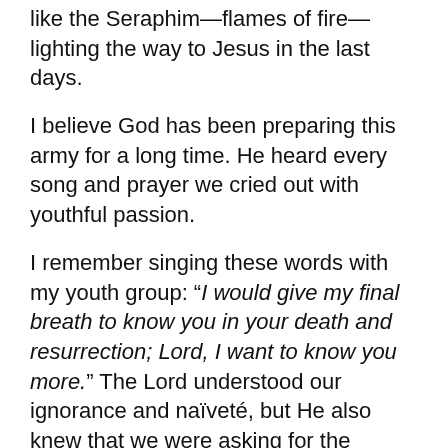like the Seraphim—flames of fire—lighting the way to Jesus in the last days.
I believe God has been preparing this army for a long time. He heard every song and prayer we cried out with youthful passion.
I remember singing these words with my youth group: “I would give my final breath to know you in your death and resurrection; Lord, I want to know you more.” The Lord understood our ignorance and naïveté, but He also knew that we were asking for the treasure of treasures—to know His heart and to understand the weight of His glory. What if He has given us the privilege of pain in order to give us the gift of intimacy with Him in the depths of His sorrow for His lost and rebellious children?
Remembering the Ultimate Sacrifi…